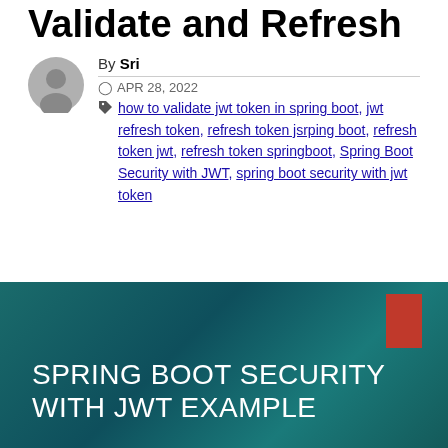Validate and Refresh
By Sri
APR 28, 2022
how to validate jwt token in spring boot, jwt refresh token, refresh token jsrping boot, refresh token jwt, refresh token springboot, Spring Boot Security with JWT, spring boot security with jwt token
[Figure (illustration): Dark teal gradient background image with white text reading SPRING BOOT SECURITY WITH JWT EXAMPLE and a red rectangle in top right corner]